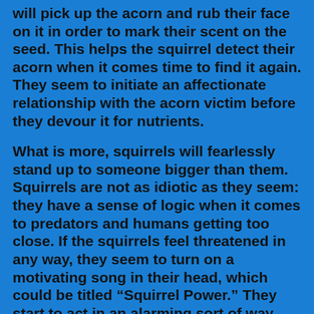will pick up the acorn and rub their face on it in order to mark their scent on the seed. This helps the squirrel detect their acorn when it comes time to find it again. They seem to initiate an affectionate relationship with the acorn victim before they devour it for nutrients.
What is more, squirrels will fearlessly stand up to someone bigger than them. Squirrels are not as idiotic as they seem: they have a sense of logic when it comes to predators and humans getting too close. If the squirrels feel threatened in any way, they seem to turn on a motivating song in their head, which could be titled “Squirrel Power.” They start to act in an alarming sort of way beginning with a rolling chirping noise. “As they make that noise, they may also rapidly flick their tails over their heads,” McCleery said. While all of this seems to be nonsense in the ears of humans, squirrels are only trying to say one thing: “back off.” They will perform these so-called “intimidating actions” when threatened by a predator — humans included.